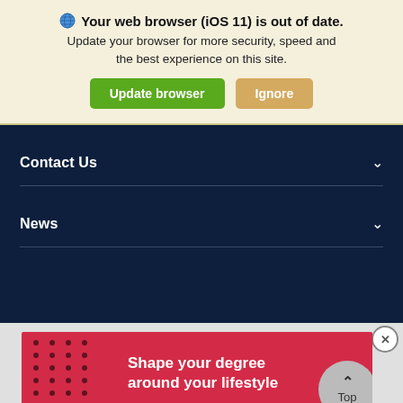Your web browser (iOS 11) is out of date. Update your browser for more security, speed and the best experience on this site.
Update browser | Ignore
Contact Us
News
[Figure (screenshot): Red advertisement banner reading 'Shape your degree around your lifestyle' with white dot pattern on left side]
Shape your degree around your lifestyle